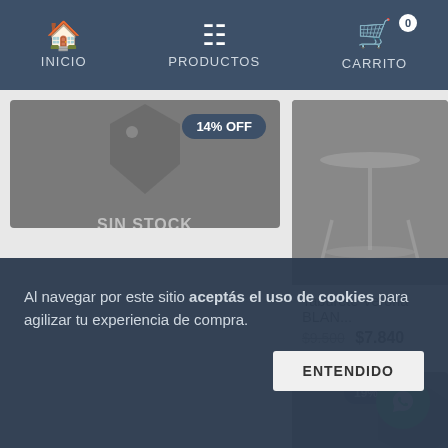INICIO | PRODUCTOS | CARRITO
[Figure (screenshot): Product card left: gray background with 14% OFF badge and SIN STOCK label with tag icon]
[Figure (photo): Product card right top: image of Taburete Verona blanco stool]
Taburete Verona BLAN... $9.500 $7.840
[Figure (screenshot): Product card right bottom: gray background with 19% OFF badge and WhatsApp button overlay]
Al navegar por este sitio aceptás el uso de cookies para agilizar tu experiencia de compra.